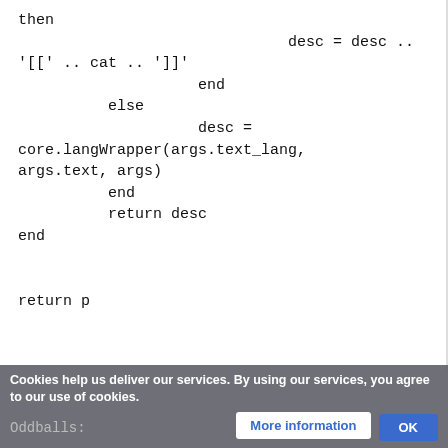then
                              desc = desc ..
'[[\'  .. cat .. \']]\'
                    end
          else
                    desc =
core.langWrapper(args.text_lang,
args.text, args)
          end
          return desc
end


return p
Cookies help us deliver our services. By using our services, you agree to our use of cookies.
Oddballs: